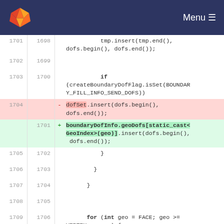GitLab - Menu
Code diff view showing lines 1701-1710 (old) / 1698-1706 (new). Changes replace dofSet.insert(dofs.begin(), dofs.end()); with boundaryDofInfo.geoDofs[static_cast<GeoIndex>(geo)].insert(dofs.begin(), dofs.end());